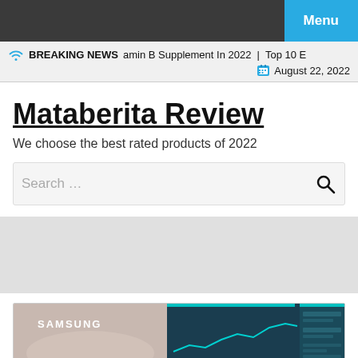Menu
BREAKING NEWS  amin B Supplement In 2022 | Top 10 E
August 22, 2022
Mataberita Review
We choose the best rated products of 2022
Search …
[Figure (screenshot): Samsung monitor/display screenshot showing a Samsung branding image on the left and a teal dashboard with a line chart on the right]